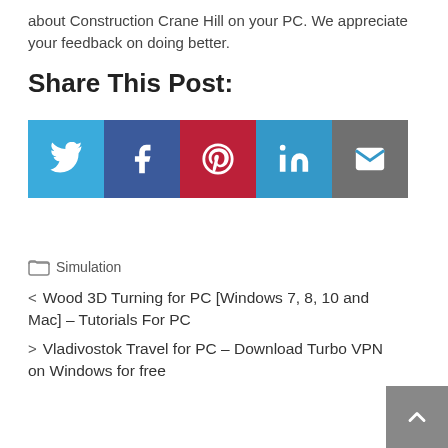about Construction Crane Hill on your PC. We appreciate your feedback on doing better.
Share This Post:
[Figure (other): Social share buttons: Twitter (blue), Facebook (dark blue), Pinterest (red), LinkedIn (blue), Email (grey)]
Simulation
< Wood 3D Turning for PC [Windows 7, 8, 10 and Mac] – Tutorials For PC
> Vladivostok Travel for PC – Download Turbo VPN on Windows for free